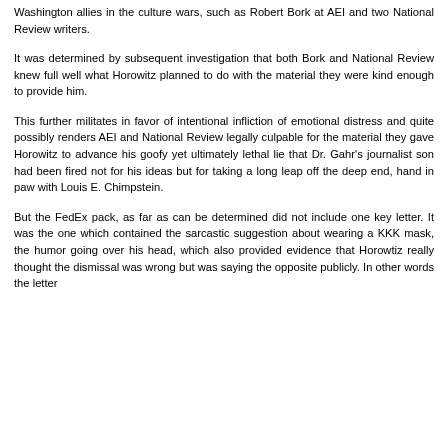Washington allies in the culture wars, such as Robert Bork at AEI and two National Review writers.
It was determined by subsequent investigation that both Bork and National Review knew full well what Horowitz planned to do with the material they were kind enough to provide him.
This further militates in favor of intentional infliction of emotional distress and quite possibly renders AEI and National Review legally culpable for the material they gave Horowitz to advance his goofy yet ultimately lethal lie that Dr. Gahr's journalist son had been fired not for his ideas but for taking a long leap off the deep end, hand in paw with Louis E. Chimpstein.
But the FedEx pack, as far as can be determined did not include one key letter. It was the one which contained the sarcastic suggestion about wearing a KKK mask, the humor going over his head, which also provided evidence that Horowtiz really thought the dismissal was wrong but was saying the opposite publicly. In other words the letter would have contradicted the claims that Dr. Gahr the